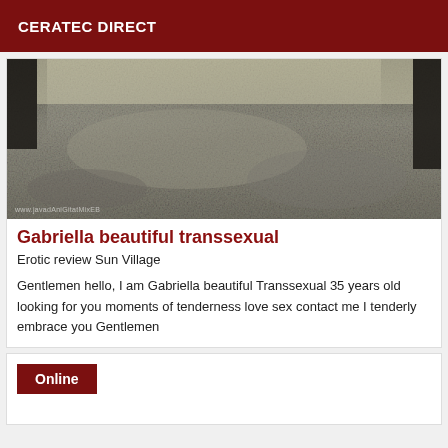CERATEC DIRECT
[Figure (photo): Outdoor ground-level photo showing textured ground with fallen leaves and foliage, dark tree figures at top corners, grayscale/sepia toned image with watermark text at bottom left]
Gabriella beautiful transsexual
Erotic review Sun Village
Gentlemen hello, I am Gabriella beautiful Transsexual 35 years old looking for you moments of tenderness love sex contact me I tenderly embrace you Gentlemen
Online